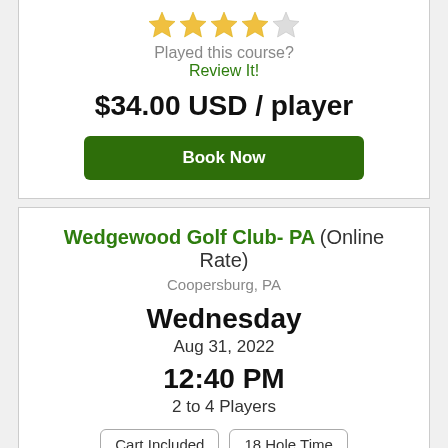[Figure (other): 4 gold stars and 1 gray star rating]
Played this course?
Review It!
$34.00 USD / player
Book Now
Wedgewood Golf Club- PA (Online Rate)
Coopersburg, PA
Wednesday
Aug 31, 2022
12:40 PM
2 to 4 Players
Cart Included
18 Hole Time
[Figure (other): 4 gold stars and 1 gray star rating]
Played this course?